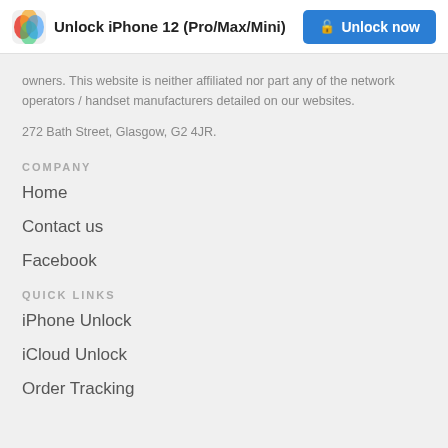Unlock iPhone 12 (Pro/Max/Mini)  Unlock now
owners. This website is neither affiliated nor part any of the network operators / handset manufacturers detailed on our websites.
272 Bath Street, Glasgow, G2 4JR.
COMPANY
Home
Contact us
Facebook
QUICK LINKS
iPhone Unlock
iCloud Unlock
Order Tracking